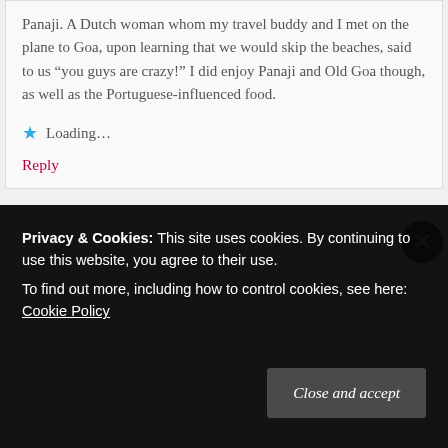Panaji. A Dutch woman whom my travel buddy and I met on the plane to Goa, upon learning that we would skip the beaches, said to us “you guys are crazy!” I did enjoy Panaji and Old Goa though, as well as the Portuguese-influenced food.
Loading...
Reply
Privacy & Cookies: This site uses cookies. By continuing to use this website, you agree to their use.
To find out more, including how to control cookies, see here: Cookie Policy
Close and accept